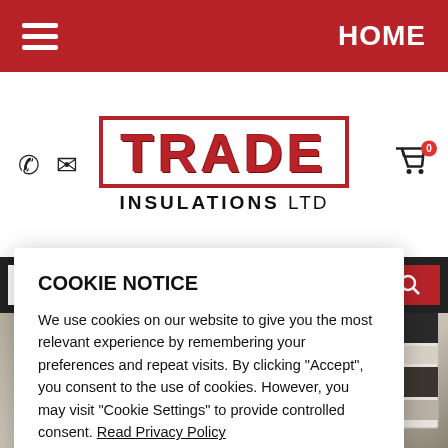HOME
[Figure (logo): Trade Insulations Ltd logo — red bordered box with TRADE in large red distressed font, INSULATIONS LTD below in black]
COOKIE NOTICE
We use cookies on our website to give you the most relevant experience by remembering your preferences and repeat visits. By clicking "Accept", you consent to the use of cookies. However, you may visit "Cookie Settings" to provide controlled consent. Read Privacy Policy
Cookie Settings  Accept